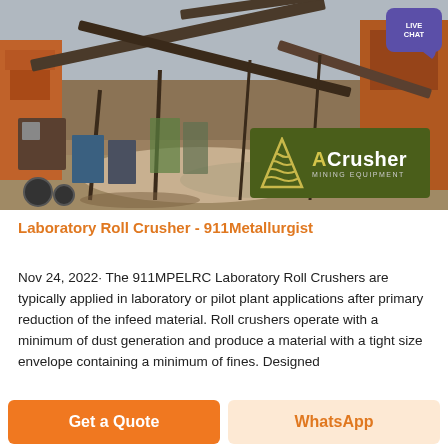[Figure (photo): Outdoor mining/crushing facility with conveyor belts, industrial machinery, and crushed ore piles. ACrusher Mining Equipment logo overlay in bottom right. A purple 'Live Chat' speech bubble appears in top right corner.]
Laboratory Roll Crusher - 911Metallurgist
Nov 24, 2022· The 911MPELRC Laboratory Roll Crushers are typically applied in laboratory or pilot plant applications after primary reduction of the infeed material. Roll crushers operate with a minimum of dust generation and produce a material with a tight size envelope containing a minimum of fines. Designed
Get a Quote
WhatsApp